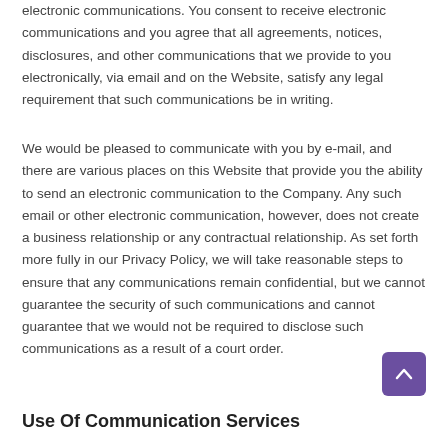electronic communications. You consent to receive electronic communications and you agree that all agreements, notices, disclosures, and other communications that we provide to you electronically, via email and on the Website, satisfy any legal requirement that such communications be in writing.
We would be pleased to communicate with you by e-mail, and there are various places on this Website that provide you the ability to send an electronic communication to the Company. Any such email or other electronic communication, however, does not create a business relationship or any contractual relationship. As set forth more fully in our Privacy Policy, we will take reasonable steps to ensure that any communications remain confidential, but we cannot guarantee the security of such communications and cannot guarantee that we would not be required to disclose such communications as a result of a court order.
Use Of Communication Services